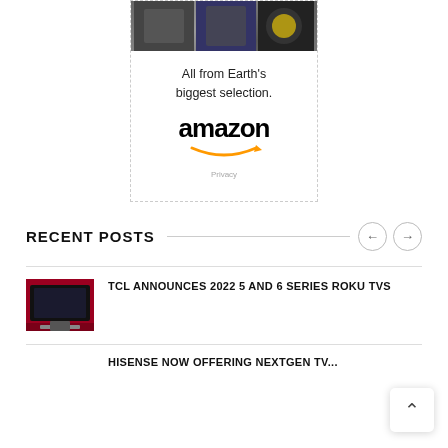[Figure (advertisement): Amazon advertisement showing movie/TV show thumbnails at top, text 'All from Earth's biggest selection.' and amazon logo with orange arrow]
RECENT POSTS
[Figure (thumbnail): TCL Roku TV thumbnail showing dark red/maroon TV set]
TCL ANNOUNCES 2022 5 AND 6 SERIES ROKU TVS
HISENSE NOW OFFERING NEXTGEN TV...